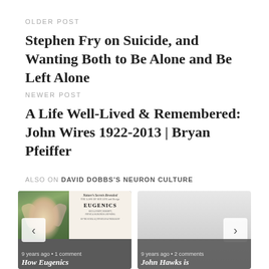OLDER POST
Stephen Fry on Suicide, and Wanting Both to Be Alone and Be Left Alone
NEWER POST
A Life Well-Lived & Remembered: John Wires 1922-2013 | Bryan Pfeiffer
ALSO ON DAVID DOBBS'S NEURON CULTURE
[Figure (screenshot): Card showing angel painting on left half and eugenics book cover on right half, with nav arrow, timestamp '9 years ago • 1 comment' and partial heading 'How Eugenics']
[Figure (screenshot): Card with gray gradient background, nav arrow on right, timestamp '9 years ago • 2 comments' and partial heading 'John Hawks is']